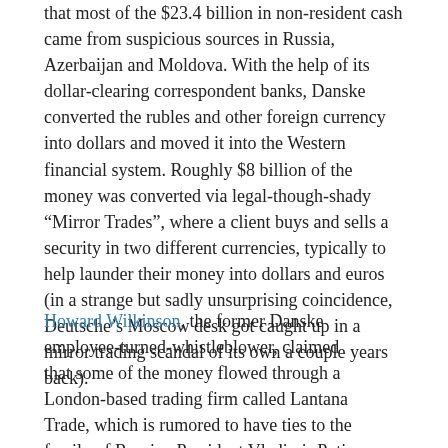that most of the $23.4 billion in non-resident cash came from suspicious sources in Russia, Azerbaijan and Moldova. With the help of its dollar-clearing correspondent banks, Danske converted the rubles and other foreign currency into dollars and moved it into the Western financial system. Roughly $8 billion of the money was converted via legal-though-shady “Mirror Trades”, where a client buys and sells a security in two different currencies, typically to help launder their money into dollars and euros (in a strange but sadly unsurprising coincidence, Deutsche’s Moscow desk got caught up in a mirror trading scandal of its own a couple years back).
Howard Wilkinson, the former Danske employee-turned-whistleblower, claimed that some of the money flowed through a London-based trading firm called Lantana Trade, which is rumored to have ties to the family of Russian President Vladimir Putin and members of the FSB. Wilkinson is expected to testify before both the Danish and EU parliaments this week, and will also be speaking with US investigators, according to the Financial Times. In addition to the DOJ and SEC. FinCEN has said it is actively interested in the